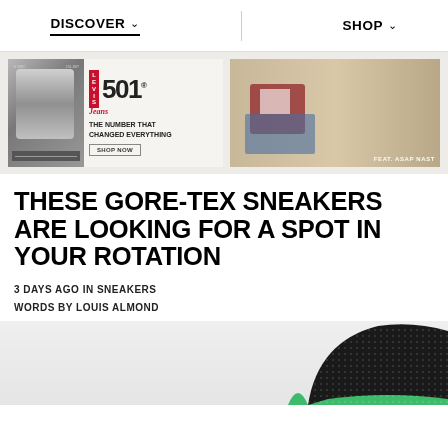DISCOVER  SHOP
[Figure (photo): Levi's 501 Jeans advertisement with black and white portrait photo and text 'The Number That Changed Everything' with Shop Now button]
[Figure (photo): Fashion photo of man in jeans and red jacket reclining, labeled 'FEAT. ASAP NAST']
THESE GORE-TEX SNEAKERS ARE LOOKING FOR A SPOT IN YOUR ROTATION
3 DAYS AGO IN SNEAKERS
WORDS BY LOUIS ALMOND
[Figure (photo): Close-up photo of Gore-Tex sneaker in black and green colorway]